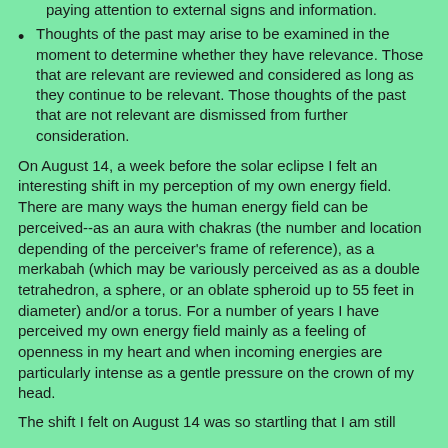paying attention to external signs and information.
Thoughts of the past may arise to be examined in the moment to determine whether they have relevance. Those that are relevant are reviewed and considered as long as they continue to be relevant. Those thoughts of the past that are not relevant are dismissed from further consideration.
On August 14, a week before the solar eclipse I felt an interesting shift in my perception of my own energy field. There are many ways the human energy field can be perceived--as an aura with chakras (the number and location depending of the perceiver’s frame of reference), as a merkabah (which may be variously perceived as as a double tetrahedron, a sphere, or an oblate spheroid up to 55 feet in diameter) and/or a torus. For a number of years I have perceived my own energy field mainly as a feeling of openness in my heart and when incoming energies are particularly intense as a gentle pressure on the crown of my head.
The shift I felt on August 14 was so startling that I am still